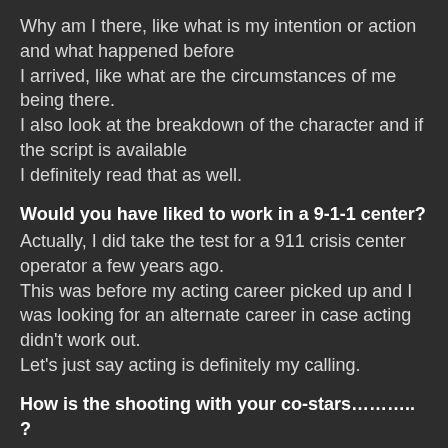Why am I there, like what is my intention or action and what happened before I arrived, like what are the circumstances of me being there.
I also look at the breakdown of the character and if the script is available
I definitely read that as well.
Would you have liked to work in a 9-1-1 center?
Actually, I did take the test for a 911 crisis center operator a few years ago.
This was before my acting career picked up and I was looking for an alternate career in case acting didn't work out.
Let's just say acting is definitely my calling.
How is the shooting with your co-stars……….. ?
Working on the show 9-1-1 is such a joy.
I love my job already but getting to work on this show has been the absolute best.